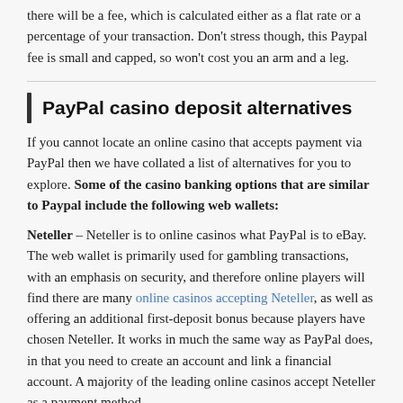there will be a fee, which is calculated either as a flat rate or a percentage of your transaction. Don't stress though, this Paypal fee is small and capped, so won't cost you an arm and a leg.
PayPal casino deposit alternatives
If you cannot locate an online casino that accepts payment via PayPal then we have collated a list of alternatives for you to explore. Some of the casino banking options that are similar to Paypal include the following web wallets:
Neteller – Neteller is to online casinos what PayPal is to eBay. The web wallet is primarily used for gambling transactions, with an emphasis on security, and therefore online players will find there are many online casinos accepting Neteller, as well as offering an additional first-deposit bonus because players have chosen Neteller. It works in much the same way as PayPal does, in that you need to create an account and link a financial account. A majority of the leading online casinos accept Neteller as a payment method.